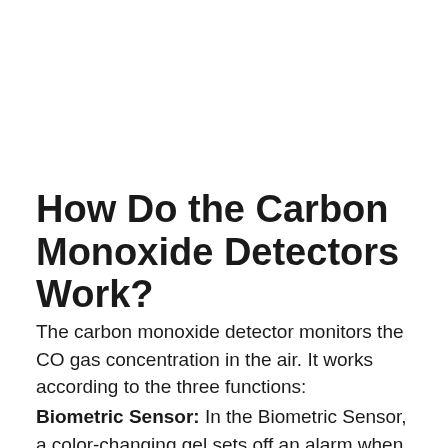How Do the Carbon Monoxide Detectors Work?
The carbon monoxide detector monitors the CO gas concentration in the air. It works according to the three functions:
Biometric Sensor: In the Biometric Sensor, a color-changing gel sets off an alarm when the pre-set CO reaches the levels.